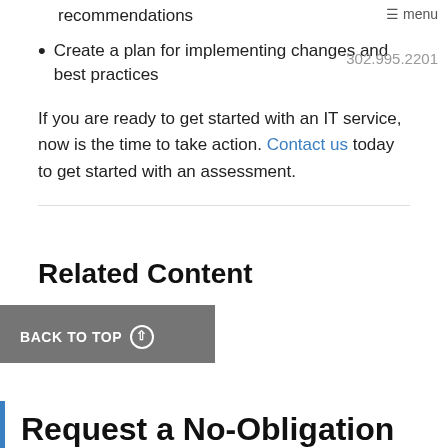recommendations
Create a plan for implementing changes and best practices
≡ menu  302.995.2201
If you are ready to get started with an IT service, now is the time to take action. Contact us today to get started with an assessment.
Related Content
Network Security
BACK TO TOP ⊙
Request a No-Obligation